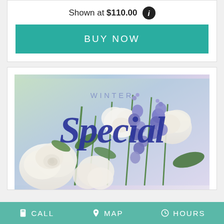Shown at $110.00
BUY NOW
[Figure (photo): Winter Special floral arrangement promotional image with white roses and purple/blue delphinium flowers on a light lavender background, with text overlay reading WINTER Special]
CALL   MAP   HOURS